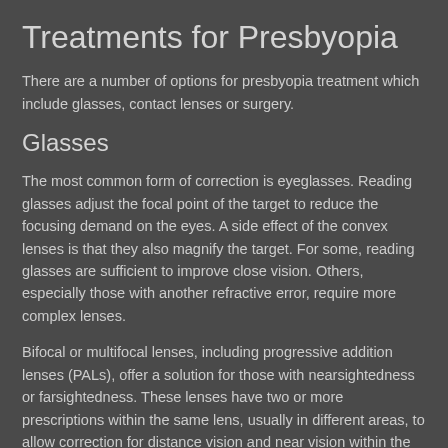Treatments for Presbyopia
There are a number of options for presbyopia treatment which include glasses, contact lenses or surgery.
Glasses
The most common form of correction is eyeglasses. Reading glasses adjust the focal point of the target to reduce the focusing demand on the eyes. A side effect of the convex lenses is that they also magnify the target. For some, reading glasses are sufficient to improve close vision. Others, especially those with another refractive error, require more complex lenses.
Bifocal or multifocal lenses, including progressive addition lenses (PALs), offer a solution for those with nearsightedness or farsightedness. These lenses have two or more prescriptions within the same lens, usually in different areas, to allow correction for distance vision and near vision within the same lens. While bifocals and standard multifocals typically divide the lenses into